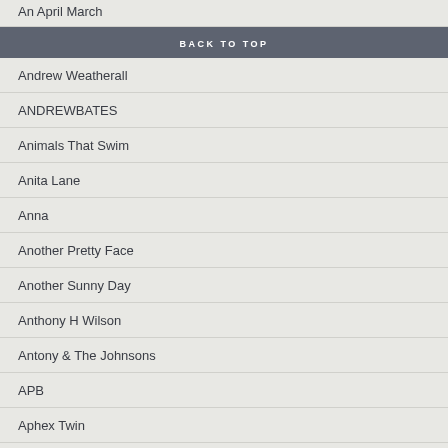An April March
BACK TO TOP
Andrew Weatherall
ANDREWBATES
Animals That Swim
Anita Lane
Anna
Another Pretty Face
Another Sunny Day
Anthony H Wilson
Antony & The Johnsons
APB
Aphex Twin
Apollo 440